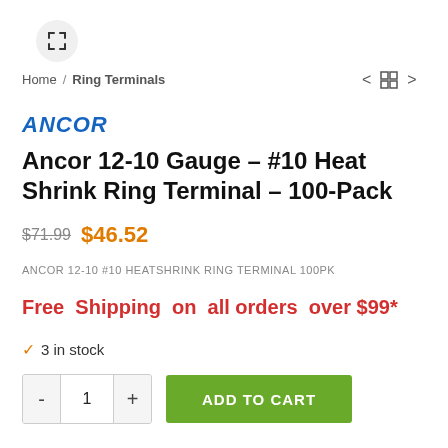[Figure (other): Expand/fullscreen icon button (arrows pointing outward) in a circular grey button]
Home / Ring Terminals
ANCOR
Ancor 12-10 Gauge – #10 Heat Shrink Ring Terminal – 100-Pack
$71.99  $46.52
ANCOR 12-10 #10 HEATSHRINK RING TERMINAL 100PK
Free Shipping on all orders over $99*
✓ 3 in stock
- 1 +  ADD TO CART